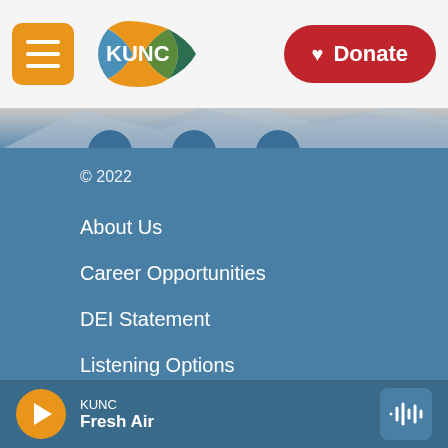KUNC - Donate
© 2022
About Us
Career Opportunities
DEI Statement
Listening Options
Privacy Policy
FCC Public File
Contact Us
KUNC Fresh Air